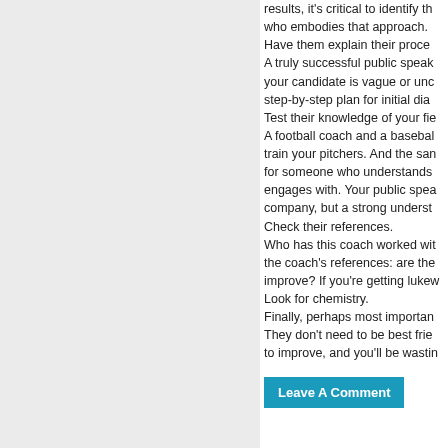results, it's critical to identify the who embodies that approach. Have them explain their process. A truly successful public speak your candidate is vague or unc step-by-step plan for initial diag Test their knowledge of your fie A football coach and a basebal train your pitchers. And the sar for someone who understands engages with. Your public spea company, but a strong understa Check their references. Who has this coach worked wit the coach's references: are the improve? If you're getting lukew Look for chemistry. Finally, perhaps most importan They don't need to be best frie to improve, and you'll be wasti
Leave A Comment